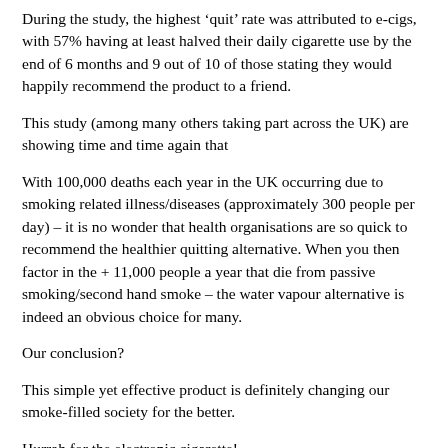During the study, the highest ‘quit’ rate was attributed to e-cigs, with 57% having at least halved their daily cigarette use by the end of 6 months and 9 out of 10 of those stating they would happily recommend the product to a friend.
This study (among many others taking part across the UK) are showing time and time again that
With 100,000 deaths each year in the UK occurring due to smoking related illness/diseases (approximately 300 people per day) – it is no wonder that health organisations are so quick to recommend the healthier quitting alternative. When you then factor in the + 11,000 people a year that die from passive smoking/second hand smoke – the water vapour alternative is indeed an obvious choice for many.
Our conclusion?
This simple yet effective product is definitely changing our smoke-filled society for the better.
Hurrah for the electronic cigarette!